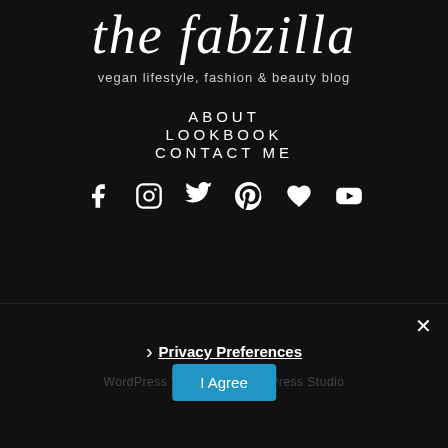the fabzilla
vegan lifestyle, fashion & beauty blog
ABOUT
LOOKBOOK
CONTACT ME
[Figure (other): Social media icons row: Facebook, Instagram, Twitter, Pinterest, Heart/Bloglovin, YouTube]
Privacy Preferences
I Agree
WordPress Theme by SwitchPress Studio